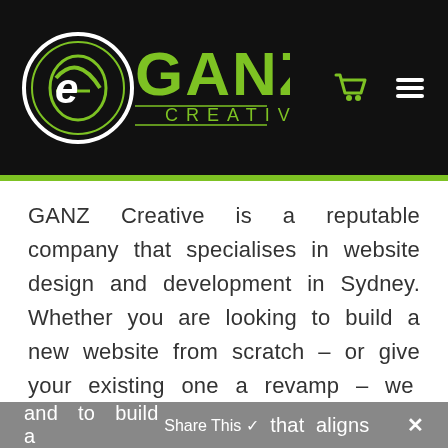[Figure (logo): GANZ Creative logo on black background with shopping cart icon and hamburger menu icon]
GANZ Creative is a reputable company that specialises in website design and development in Sydney. Whether you are looking to build a new website from scratch – or give your existing one a revamp – we will be more than happy to work with you to understand your business, and to build a website that aligns
and to build a   Share This ✓   that aligns  ✕